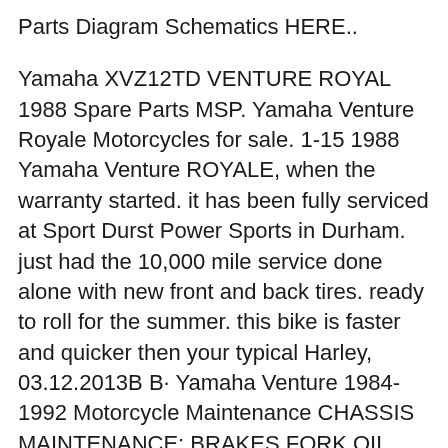Parts Diagram Schematics HERE..
Yamaha XVZ12TD VENTURE ROYAL 1988 Spare Parts MSP. Yamaha Venture Royale Motorcycles for sale. 1-15 1988 Yamaha Venture ROYALE, when the warranty started. it has been fully serviced at Sport Durst Power Sports in Durham. just had the 10,000 mile service done alone with new front and back tires. ready to roll for the summer. this bike is faster and quicker then your typical Harley, 03.12.2013B B· Yamaha Venture 1984-1992 Motorcycle Maintenance CHASSIS MAINTENANCE; BRAKES FORK OIL CHANGE STEERING HEAD ADJUSTMENT ANTI-DIVE UNIT (XVZ12) CHAIN LUBRICATION FINAL